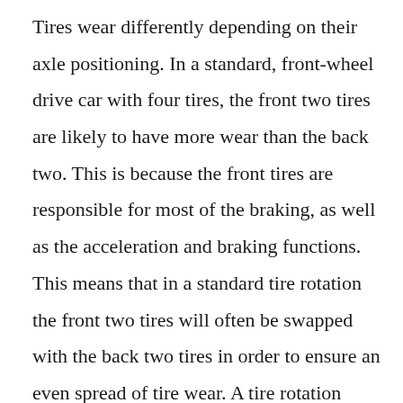Tires wear differently depending on their axle positioning. In a standard, front-wheel drive car with four tires, the front two tires are likely to have more wear than the back two. This is because the front tires are responsible for most of the braking, as well as the acceleration and braking functions. This means that in a standard tire rotation the front two tires will often be swapped with the back two tires in order to ensure an even spread of tire wear. A tire rotation service ensures enhanced safety for the driver and a high driving performance and it will also save you, as the car owner, money in the long-run. Regular tire rotations at Gregory's Auto Service Inc will keep Hawley safe and